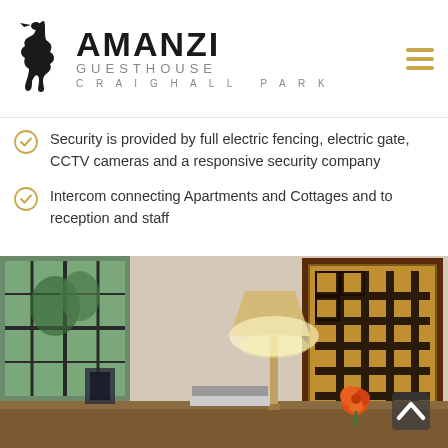[Figure (logo): Amanzi Guesthouse Craighall Park logo with black heron bird silhouette]
Security is provided by full electric fencing, electric gate, CCTV cameras and a responsive security company
Intercom connecting Apartments and Cottages and to reception and staff
[Figure (photo): Interior photo of guesthouse room showing a lamp with woven shade, a framed African textile artwork with geometric patterns, and a flower arrangement on a wooden table]